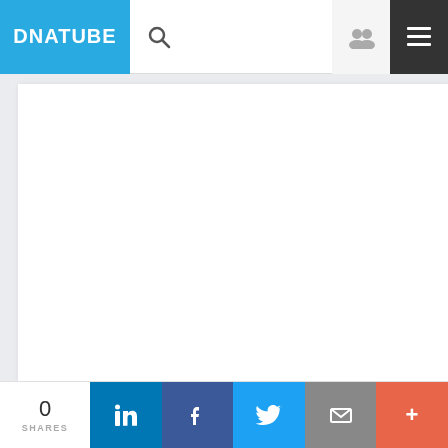DNATUBE
[Figure (screenshot): Main content area — white panel on light grey background, mostly empty]
0 SHARES
[Figure (infographic): Social share buttons: LinkedIn, Facebook, Twitter, Email, More (+)]